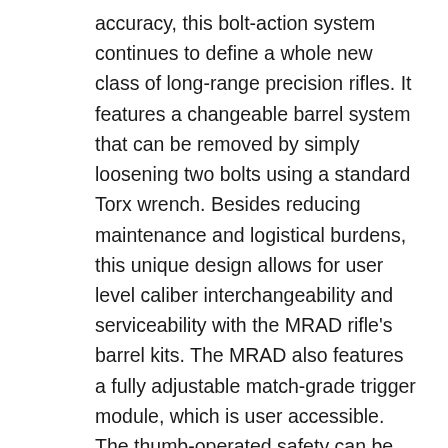accuracy, this bolt-action system continues to define a whole new class of long-range precision rifles. It features a changeable barrel system that can be removed by simply loosening two bolts using a standard Torx wrench. Besides reducing maintenance and logistical burdens, this unique design allows for user level caliber interchangeability and serviceability with the MRAD rifle's barrel kits. The MRAD also features a fully adjustable match-grade trigger module, which is user accessible. The thumb-operated safety can be configured for left or right hand operation and its ambidextrous magazine release can be used intuitively while retaining a firing grip and cheek weld. Its forward receiver is drilled and tapped for accessory rails to be mounted at the 3, 6 and 9 o'clock positions. The stock is fold able for enhanced portability yet locks in as solid as a fixed-stock rifle, creating a rigid platform for consistent firing. Is adjustable cheek piece